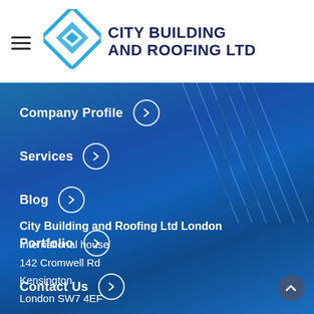[Figure (logo): City Building and Roofing Ltd logo with blue geometric diamond shape and company name in dark navy bold text]
Company Profile >
Services >
Blog >
Portfolio >
Contact Us >
City Building and Roofing Ltd London
International house
142 Cromwell Rd
Kensington
London SW7 4EF